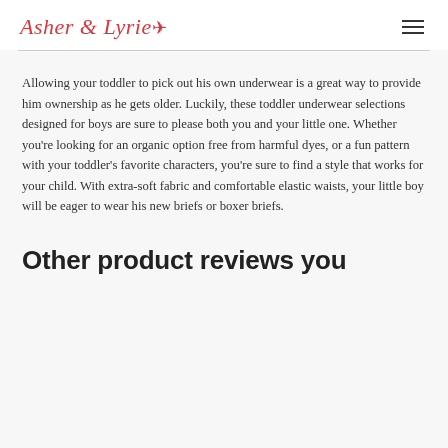Asher & Lyrie
Allowing your toddler to pick out his own underwear is a great way to provide him ownership as he gets older. Luckily, these toddler underwear selections designed for boys are sure to please both you and your little one. Whether you're looking for an organic option free from harmful dyes, or a fun pattern with your toddler's favorite characters, you're sure to find a style that works for your child. With extra-soft fabric and comfortable elastic waists, your little boy will be eager to wear his new briefs or boxer briefs.
Other product reviews you